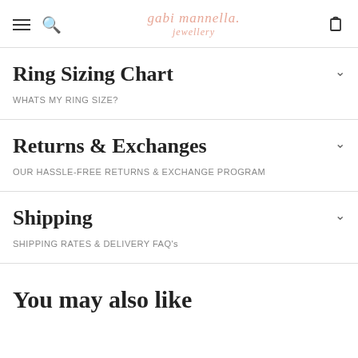gabi mannella. jewellery
Ring Sizing Chart
WHATS MY RING SIZE?
Returns & Exchanges
OUR HASSLE-FREE RETURNS & EXCHANGE PROGRAM
Shipping
SHIPPING RATES & DELIVERY FAQ's
You may also like